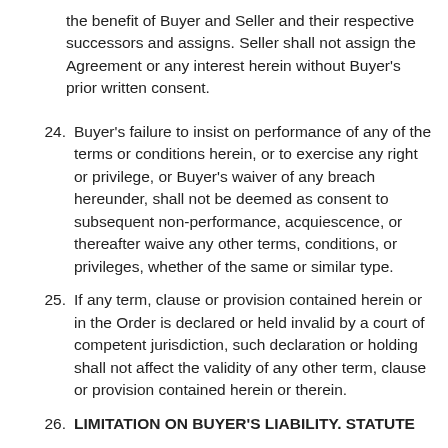the benefit of Buyer and Seller and their respective successors and assigns. Seller shall not assign the Agreement or any interest herein without Buyer's prior written consent.
24. Buyer's failure to insist on performance of any of the terms or conditions herein, or to exercise any right or privilege, or Buyer's waiver of any breach hereunder, shall not be deemed as consent to subsequent non-performance, acquiescence, or thereafter waive any other terms, conditions, or privileges, whether of the same or similar type.
25. If any term, clause or provision contained herein or in the Order is declared or held invalid by a court of competent jurisdiction, such declaration or holding shall not affect the validity of any other term, clause or provision contained herein or therein.
26. LIMITATION ON BUYER'S LIABILITY. STATUTE